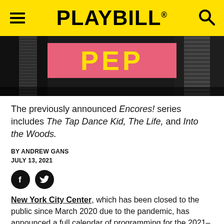PLAYBILL
[Figure (photo): Hero image showing a performer on a dark background with a pink banner displaying 'PEP' in yellow letters]
The previously announced Encores! series includes The Tap Dance Kid, The Life, and Into the Woods.
BY ANDREW GANS
JULY 13, 2021
[Figure (other): Facebook and Twitter social share icons (black circles)]
New York City Center, which has been closed to the public since March 2020 due to the pandemic, has announced a full calendar of programming for the 2021–2022 season.